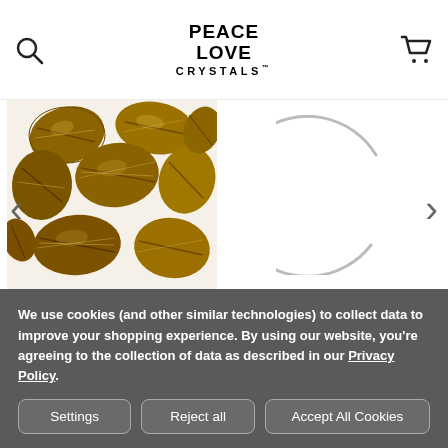Peace Love Crystals
[Figure (photo): Tiger eye tumbled stones — multiple golden-brown striped polished stones]
[Figure (other): Loading spinner (partial circle arc)]
ADD TO CART
BUY NOW
ADD TO CART
BUY NOW
We use cookies (and other similar technologies) to collect data to improve your shopping experience. By using our website, you're agreeing to the collection of data as described in our Privacy Policy.
Settings
Reject all
Accept All Cookies